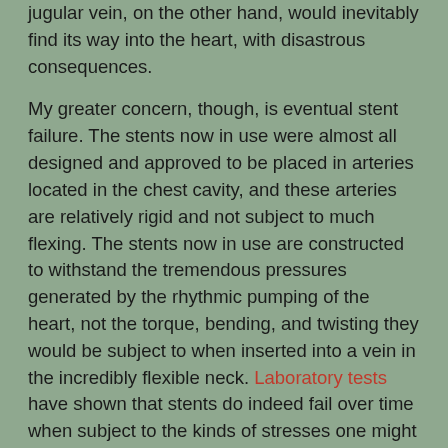jugular vein, on the other hand, would inevitably find its way into the heart, with disastrous consequences.
My greater concern, though, is eventual stent failure. The stents now in use were almost all designed and approved to be placed in arteries located in the chest cavity, and these arteries are relatively rigid and not subject to much flexing. The stents now in use are constructed to withstand the tremendous pressures generated by the rhythmic pumping of the heart, not the torque, bending, and twisting they would be subject to when inserted into a vein in the incredibly flexible neck. Laboratory tests have shown that stents do indeed fail over time when subject to the kinds of stresses one might expect them to undergo when placed in very pliant jugular veins. The results of some studies suggest that stents placed under such stresses could likely fracture within 10 years. Needless to say, such a failure could be catastrophic.
Dr. Sclafani, ever the inventive guy, is trying to come up with some alternative solutions, and I'm confident that the good doctor will get it all figured out. In the meantime, though, the choice is between going for the stent, and the inherent